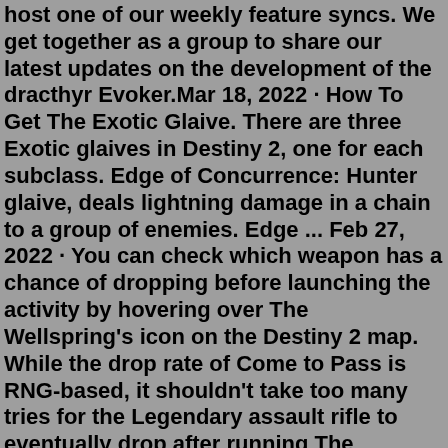host one of our weekly feature syncs. We get together as a group to share our latest updates on the development of the dracthyr Evoker.Mar 18, 2022 · How To Get The Exotic Glaive. There are three Exotic glaives in Destiny 2, one for each subclass. Edge of Concurrence: Hunter glaive, deals lightning damage in a chain to a group of enemies. Edge ... Feb 27, 2022 · You can check which weapon has a chance of dropping before launching the activity by hovering over The Wellspring's icon on the Destiny 2 map. While the drop rate of Come to Pass is RNG-based, it shouldn't take too many tries for the Legendary assault rifle to eventually drop after running The Wellspring and defeating the final boss. Come to Pass is only available by completing runs of the new 6-player activity Wellspring in Savathun's Throne World. Not only that, but the Wellspring boss must be Golmag, Warden of the Spring, to get the weapon to drop. The good news is that once you obtain three Come to Pass auto rifles with the new...R rate drops to 0.68 • Positivity rate drops to 19% • Death toll